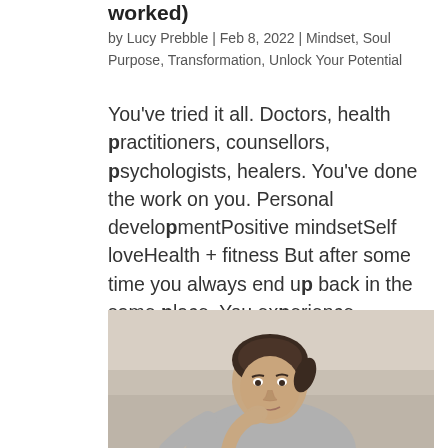worked)
by Lucy Prebble | Feb 8, 2022 | Mindset, Soul Purpose, Transformation, Unlock Your Potential
You've tried it all. Doctors, health practitioners, counsellors, psychologists, healers. You've done the work on you. Personal developmentPositive mindsetSelf loveHealth + fitness But after some time you always end up back in the same place. You experience…
[Figure (photo): A woman with dark hair in a ponytail sitting on a couch, wearing a grey top, looking at the camera with her hand raised near her chin.]